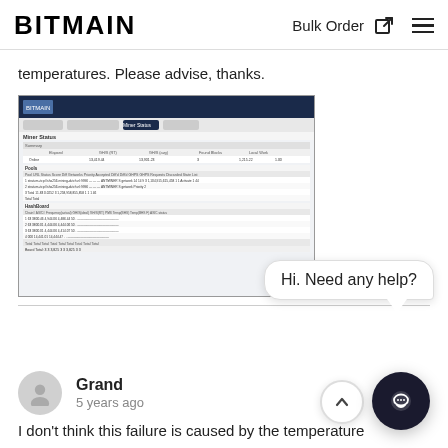BITMAIN   Bulk Order ☑ ☰
temperatures. Please advise, thanks.
[Figure (screenshot): Screenshot of a miner status dashboard showing pool configuration, fan status, and hash board summary tables with multiple rows of technical data.]
Grand
5 years ago
I don't think this failure is caused by the temperature
Hi. Need any help?